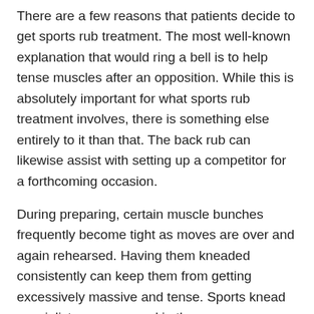There are a few reasons that patients decide to get sports rub treatment. The most well-known explanation that would ring a bell is to help tense muscles after an opposition. While this is absolutely important for what sports rub treatment involves, there is something else entirely to it than that. The back rub can likewise assist with setting up a competitor for a forthcoming occasion.
During preparing, certain muscle bunches frequently become tight as moves are over and again rehearsed. Having them kneaded consistently can keep them from getting excessively massive and tense. Sports knead specialists are prepared in the